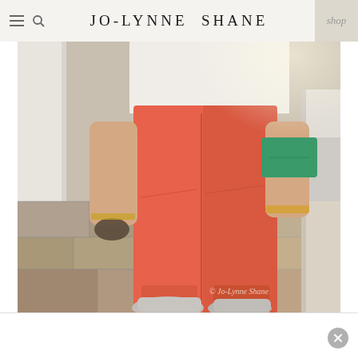JO-LYNNE SHANE — shop
[Figure (photo): Fashion blog photo showing a woman from torso down wearing coral/orange skinny jeans, white top, holding sunglasses, carrying a green clutch with gold accessories, wearing grey flats, standing on stone pavement near a white pillar. Watermark reads © Jo-Lynne Shane.]
[Figure (other): Advertisement bar at the bottom with a close (X) button on the right side.]